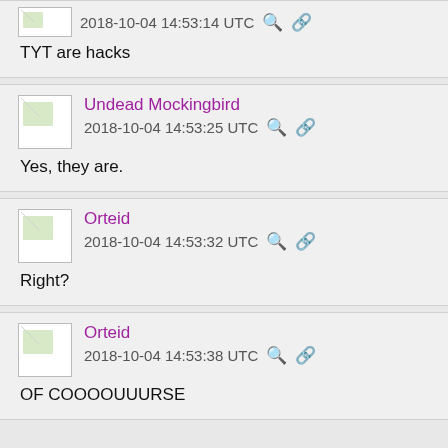2018-10-04 14:53:14 UTC
TYT are hacks
Undead Mockingbird
2018-10-04 14:53:25 UTC
Yes, they are.
Orteid
2018-10-04 14:53:32 UTC
Right?
Orteid
2018-10-04 14:53:38 UTC
OF COOOOUUURSE